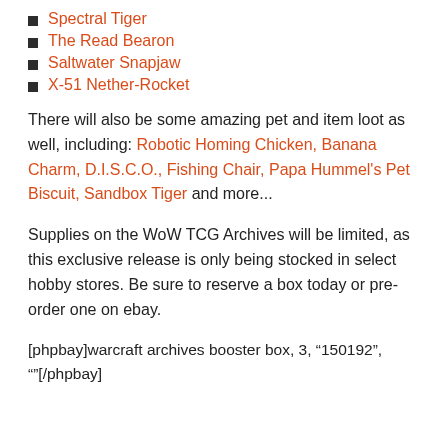Spectral Tiger
The Read Bearon
Saltwater Snapjaw
X-51 Nether-Rocket
There will also be some amazing pet and item loot as well, including: Robotic Homing Chicken, Banana Charm, D.I.S.C.O., Fishing Chair, Papa Hummel's Pet Biscuit, Sandbox Tiger and more...
Supplies on the WoW TCG Archives will be limited, as this exclusive release is only being stocked in select hobby stores. Be sure to reserve a box today or pre-order one on ebay.
[phpbay]warcraft archives booster box, 3, "150192", ""[/phpbay]